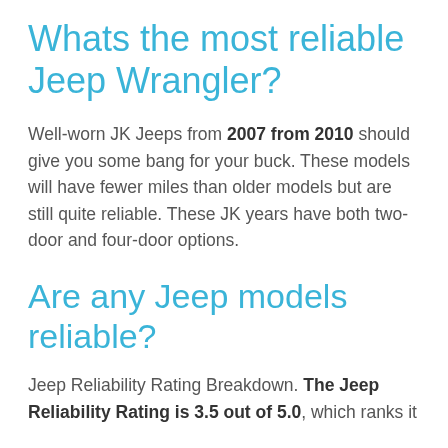Whats the most reliable Jeep Wrangler?
Well-worn JK Jeeps from 2007 from 2010 should give you some bang for your buck. These models will have fewer miles than older models but are still quite reliable. These JK years have both two-door and four-door options.
Are any Jeep models reliable?
Jeep Reliability Rating Breakdown. The Jeep Reliability Rating is 3.5 out of 5.0, which ranks it